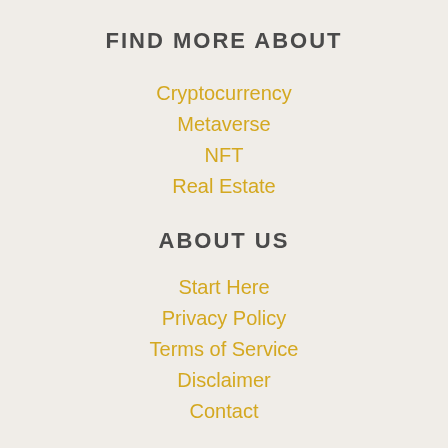FIND MORE ABOUT
Cryptocurrency
Metaverse
NFT
Real Estate
ABOUT US
Start Here
Privacy Policy
Terms of Service
Disclaimer
Contact